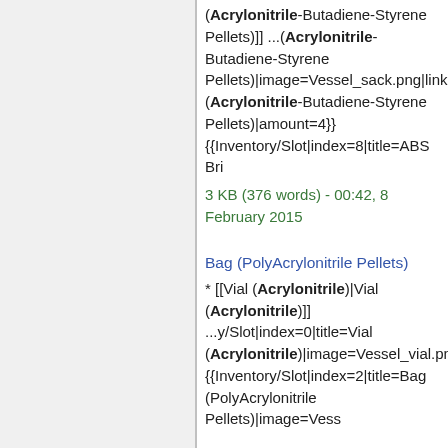(Acrylonitrile-Butadiene-Styrene Pellets)]] ...(Acrylonitrile-Butadiene-Styrene Pellets)|image=Vessel_sack.png|link=(Acrylonitrile-Butadiene-Styrene Pellets)|amount=4}} {{Inventory/Slot|index=8|title=ABS Bri
3 KB (376 words) - 00:42, 8 February 2015
Bag (PolyAcrylonitrile Pellets)
* [[Vial (Acrylonitrile)|Vial (Acrylonitrile)]] ...y/Slot|index=0|title=Vial (Acrylonitrile)|image=Vessel_vial.png (Acrylonitrile))} {{Inventory/Slot|index=2|title=Bag (PolyAcrylonitrile Pellets)|image=Vess